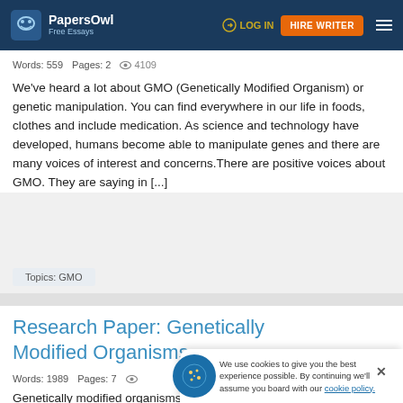PapersOwl Free Essays | LOG IN | HIRE WRITER
Words: 559  Pages: 2  4109
We've heard a lot about GMO (Genetically Modified Organism) or genetic manipulation. You can find everywhere in our life in foods, clothes and include medication. As science and technology have developed, humans become able to manipulate genes and there are many voices of interest and concerns.There are positive voices about GMO. They are saying in [...]
Topics: GMO
Research Paper: Genetically Modified Organisms
Words: 1989  Pages: 7
Genetically modified organisms, otherwise referred to as